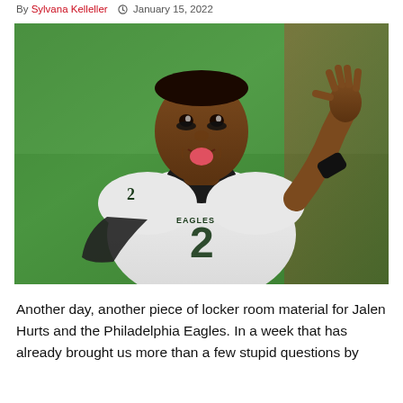By Sylvana Kelleller  January 15, 2022
[Figure (photo): Philadelphia Eagles player #2 (Jalen Hurts) in white Eagles uniform, sticking out his tongue and waving, on a green football field background]
Another day, another piece of locker room material for Jalen Hurts and the Philadelphia Eagles. In a week that has already brought us more than a few stupid questions by